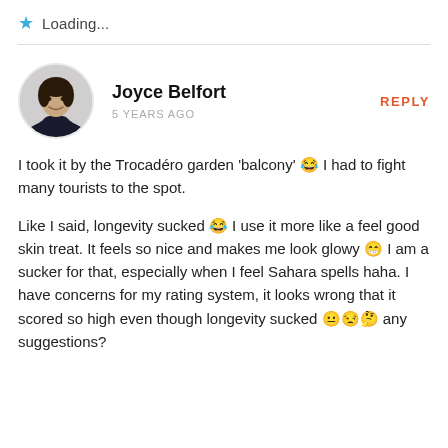★ Loading...
Joyce Belfort
5 YEARS AGO
REPLY
[Figure (photo): Circular avatar photo of Joyce Belfort, a woman with dark hair wearing a black turtleneck, arms crossed, smiling]
I took it by the Trocadéro garden 'balcony' 😂 I had to fight many tourists to the spot.
Like I said, longevity sucked 😂 I use it more like a feel good skin treat. It feels so nice and makes me look glowy 😁 I am a sucker for that, especially when I feel Sahara spells haha. I have concerns for my rating system, it looks wrong that it scored so high even though longevity sucked 😐😒🤔 any suggestions?